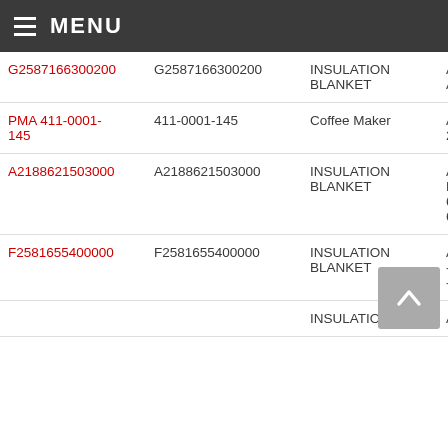MENU
| Part Number (Link) | Part Number | Description | Aircraft |
| --- | --- | --- | --- |
| G2587166300200 | G2587166300200 | INSULATION BLANKET | A340-2
A340-3 |
| PMA 411-0001-145 | 411-0001-145 | Coffee Maker | Airbus 203, A |
| A2188621503000 | A2188621503000 | INSULATION BLANKET | Airbus B4-605 622R, 605R/F |
| F2581655400000 | F2581655400000 | INSULATION BLANKET | Airbus -243, -341, - |
| F... | F... | INSULATION | Airbus |